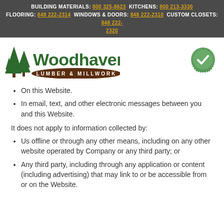BUILDING MATERIALS: 800 325-8623 KITCHENS: 800 213-3330 FLOORING: 848 222-2314 WINDOWS & DOORS: 848 222-2310 CUSTOM CLOSETS: 848 222-2320
[Figure (logo): Woodhaven Lumber & Millwork logo with pine trees on left and brown oval badge with company name]
[Figure (other): Green circular gear/saw blade icon with white checkmark]
On this Website.
In email, text, and other electronic messages between you and this Website.
It does not apply to information collected by:
Us offline or through any other means, including on any other website operated by Company or any third party; or
Any third party, including through any application or content (including advertising) that may link to or be accessible from or on the Website.